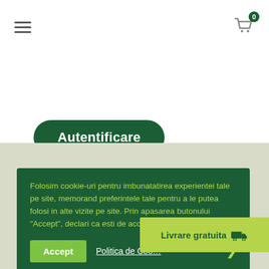[Figure (screenshot): Navigation bar with hamburger menu icon on left and shopping cart icon with badge '0' on right]
Autentificare
Ai uitat parola?
Folosim cookie-uri pentru imbunatatirea experientei tale pe site, memorand preferintele tale pentru a le putea folosi in alte vizite pe site. Prin apasarea butonului "Accept", declari ca esti de acord cu toate COOKIE-urile.
Accept
Politica de Coo...
Livrare gratuita